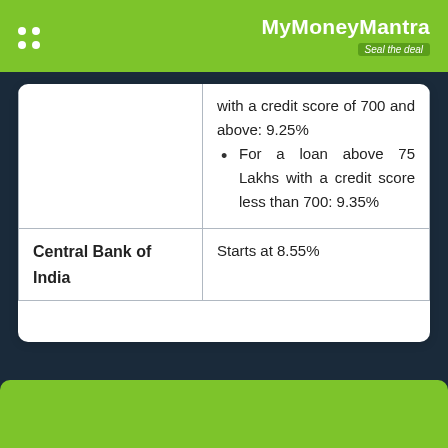MyMoneyMantra – Seal the deal
| Bank | Interest Rate |
| --- | --- |
| (continued) | with a credit score of 700 and above: 9.25%
For a loan above 75 Lakhs with a credit score less than 700: 9.35% |
| Central Bank of India | Starts at 8.55% |